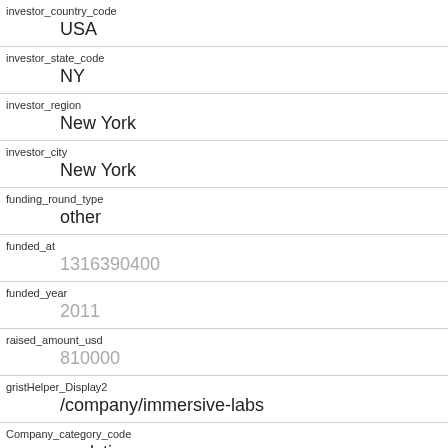| Field | Value |
| --- | --- |
| investor_country_code | USA |
| investor_state_code | NY |
| investor_region | New York |
| investor_city | New York |
| funding_round_type | other |
| funded_at | 1316390400 |
| funded_year | 2011 |
| raised_amount_usd | 810000 |
| gristHelper_Display2 | /company/immersive-labs |
| Company_category_code | analytics |